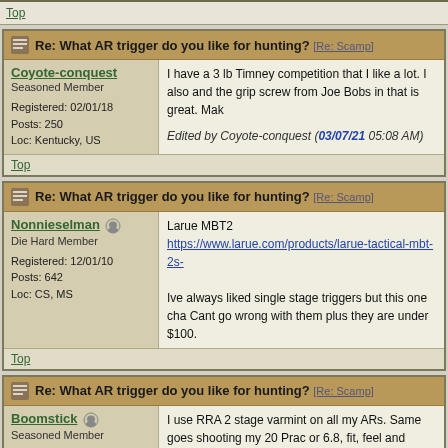Top
Re: What AR trigger do you like for hunting? [Re: Scamp]
Coyote-conquest
Seasoned Member
Registered: 02/01/18
Posts: 250
Loc: Kentucky, US
I have a 3 lb Timney competition that I like a lot. I also and the grip screw from Joe Bobs in that is great. Mak
Edited by Coyote-conquest (03/07/21 05:08 AM)
Top
Re: What AR trigger do you like for hunting? [Re: Scamp]
Nonnieselman
Die Hard Member
Registered: 12/01/10
Posts: 642
Loc: CS, MS
Larue MBT2
https://www.larue.com/products/larue-tactical-mbt-2s-
Ive always liked single stage triggers but this one cha Cant go wrong with them plus they are under $100.
Top
Re: What AR trigger do you like for hunting? [Re: Scamp]
Boomstick
Seasoned Member
Registered: 10/26/16
Posts: 305
Loc: NY
I use RRA 2 stage varmint on all my ARs. Same goes shooting my 20 Prac or 6.8, fit, feel and trigger are all
Top